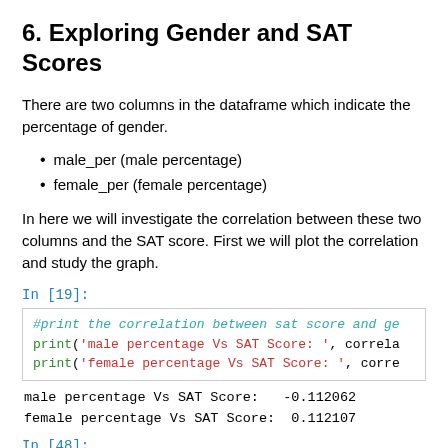6. Exploring Gender and SAT Scores
There are two columns in the dataframe which indicate the percentage of gender.
male_per (male percentage)
female_per (female percentage)
In here we will investigate the correlation between these two columns and the SAT score. First we will plot the correlation and study the graph.
In [19]:
#print the correlation between sat score and ge
print('male percentage Vs SAT Score: ', correla
print('female percentage Vs SAT Score: ', corre
male percentage Vs SAT Score:   -0.112062
female percentage Vs SAT Score:  0.112107
In [48]: